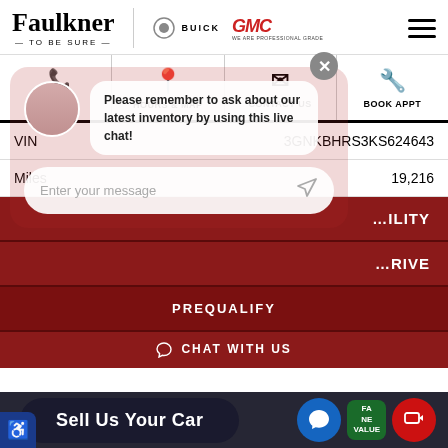[Figure (logo): Faulkner To Be Sure dealership logo with Buick and GMC brand logos]
[Figure (infographic): Navigation bar with Call Us, Hours & Map, Contact Us, Book Appt icons]
| Field | Value |
| --- | --- |
| VIN | 3GNKBHRS3KS624643 |
| Miles | 19,216 |
[Figure (screenshot): Live chat overlay with agent avatar, chat message bubble, and message input field]
Please remember to ask about our latest inventory by using this live chat!
Enter your message
ILITY
RIVE
PREQUALIFY
Sell Us Your Car
CHAT WITH US